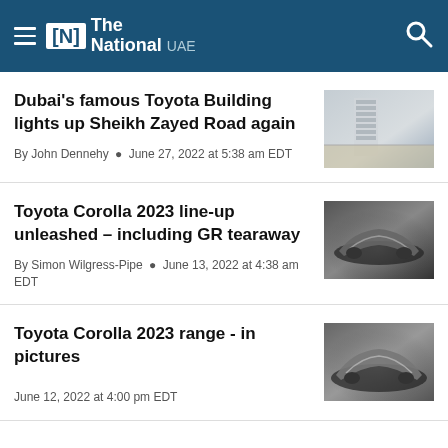The National UAE
Dubai's famous Toyota Building lights up Sheikh Zayed Road again
By John Dennehy • June 27, 2022 at 5:38 am EDT
Toyota Corolla 2023 line-up unleashed – including GR tearaway
By Simon Wilgress-Pipe • June 13, 2022 at 4:38 am EDT
Toyota Corolla 2023 range - in pictures
June 12, 2022 at 4:00 pm EDT